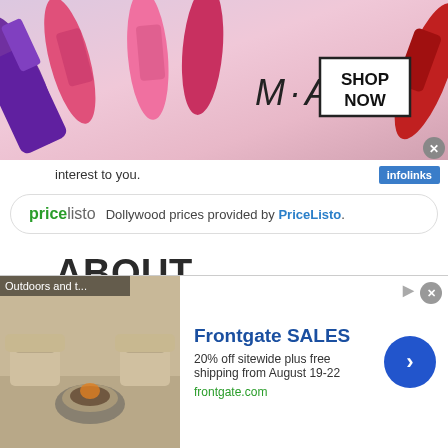[Figure (screenshot): MAC cosmetics advertisement banner showing lipsticks on left and right with MAC logo in center and SHOP NOW button]
interest to you.
[Figure (logo): PriceListo logo with text: Dollywood prices provided by PriceListo.]
ABOUT DOLLYWOOD
[Figure (photo): Outdoor landscape photo showing trees with autumn foliage colors against blue sky with clouds]
[Figure (screenshot): Frontgate SALES advertisement: 20% off sitewide plus free shipping from August 19-22, frontgate.com, with outdoor furniture image]